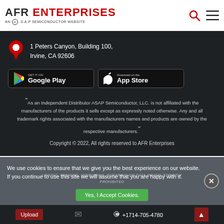[Figure (logo): AFR Enterprises logo - AN A.S.A.P SEMICONDUCTOR WEBSITE]
1 Peters Canyon, Building 100, Irvine, CA 92606
[Figure (illustration): Google Play badge and Apple App Store badge]
"As an Independent Distributor ASAP Semiconductor, LLC. is not affiliated with the manufacturers of the products it sells except as expressly noted otherwise. Any and all trademark rights associated with the manufacturers names and products are owned by the respective manufacturers."
Copyright © 2022, All rights reserved to AFR Enterprises
We use cookies to ensure that we give you the best experience on our website. If you continue to use this site we will assume that you are happy with it.
Yes, I Accept Cookies.